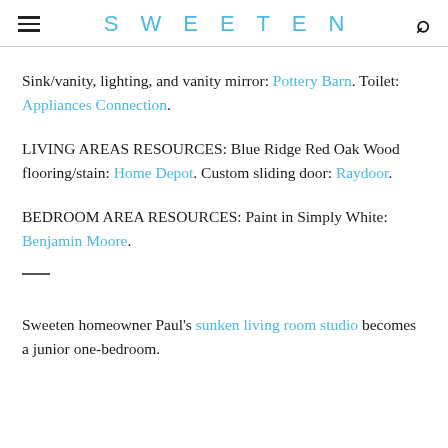SWEETEN
Sink/vanity, lighting, and vanity mirror: Pottery Barn. Toilet: Appliances Connection.
LIVING AREAS RESOURCES: Blue Ridge Red Oak Wood flooring/stain: Home Depot. Custom sliding door: Raydoor.
BEDROOM AREA RESOURCES: Paint in Simply White: Benjamin Moore.
—
Sweeten homeowner Paul's sunken living room studio becomes a junior one-bedroom.